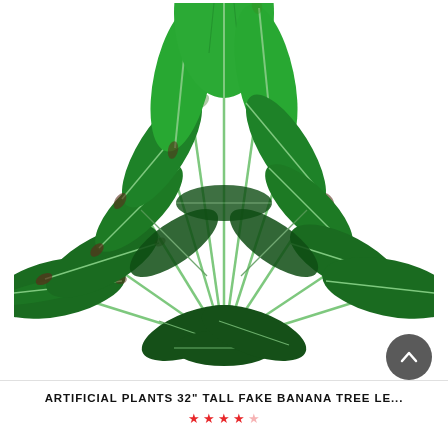[Figure (photo): Artificial plant with large dark green banana-tree-style leaves and light green stems, arranged in a fan/bush shape against a white background. The leaves have brownish-red edges and prominent midribs.]
ARTIFICIAL PLANTS 32" TALL FAKE BANANA TREE LE...